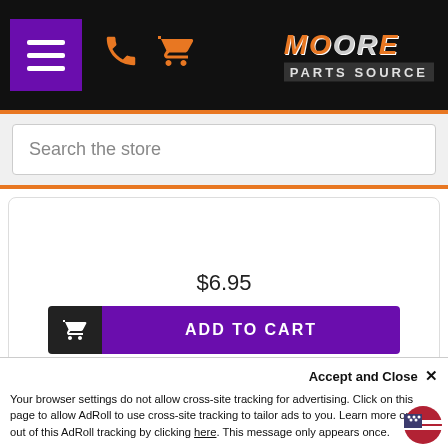[Figure (screenshot): Moore Parts Source website header with hamburger menu (purple), phone icon (orange), cart icon (orange), and Moore Parts Source logo on black background]
Search the store
$6.95
ADD TO CART
[Figure (photo): Auto part product image (dark round part) shown in bottom product card]
Accept and Close ✕
Your browser settings do not allow cross-site tracking for advertising. Click on this page to allow AdRoll to use cross-site tracking to tailor ads to you. Learn more or opt out of this AdRoll tracking by clicking here. This message only appears once.